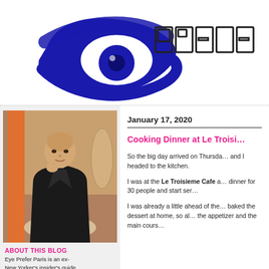[Figure (logo): Eye Prefer Paris logo: blue stylized eye graphic on left, outline block letters 'prefe' (partially cut off) on right]
January 17, 2020
Cooking Dinner at Le Troisi…
[Figure (photo): Photo of Richard Nahem, a bald man in a black leather jacket seated at a cafe table]
ABOUT THIS BLOG
Eye Prefer Paris is an ex-New Yorker's insider's guide to Paris. Richard Nahem writes his blog from his
So the big day arrived on Thursday and I headed to the kitchen.
I was at the Le Troisieme Cafe and had to cook dinner for 30 people and start ser…
I was already a little ahead of the… baked the dessert at home, so al… the appetizer and the main cours…